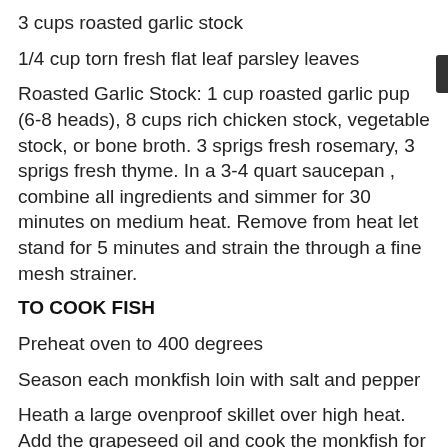3 cups roasted garlic stock
1/4 cup torn fresh flat leaf parsley leaves
Roasted Garlic Stock: 1 cup roasted garlic pup (6-8 heads), 8 cups rich chicken stock, vegetable stock, or bone broth. 3 sprigs fresh rosemary, 3 sprigs fresh thyme. In a 3-4 quart saucepan , combine all ingredients and simmer for 30 minutes on medium heat. Remove from heat let stand for 5 minutes and strain the through a fine mesh strainer.
TO COOK FISH
Preheat oven to 400 degrees
Season each monkfish loin with salt and pepper
Heath a large ovenproof skillet over high heat. Add the grapeseed oil and cook the monkfish for 6-8 minutes turning one or twice, or until nicely browned on all sides. Transfer the skillet to the oven and roast for for another 3-7 minutes or until